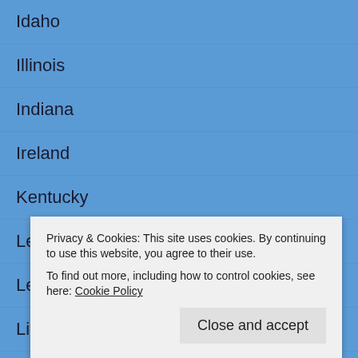Idaho
Illinois
Indiana
Ireland
Kentucky
Leelanau
Leelanau Conservancy
Lighthouses
Louisiana
Privacy & Cookies: This site uses cookies. By continuing to use this website, you agree to their use.
To find out more, including how to control cookies, see here: Cookie Policy
Close and accept